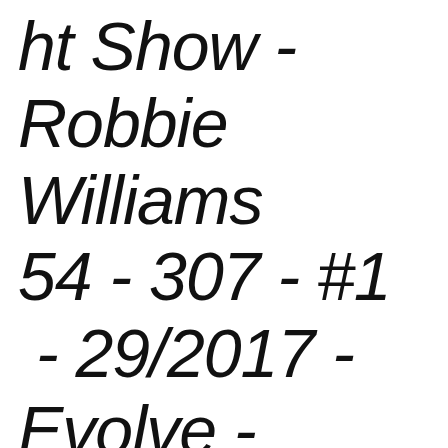ht Show - Robbie Williams 54 - 307 - #1 - 29/2017 - Evolve -